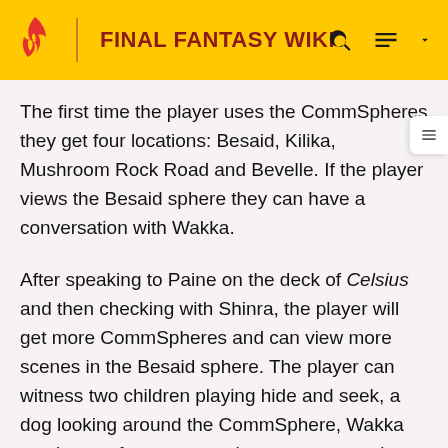FINAL FANTASY WIKI
The first time the player uses the CommSpheres they get four locations: Besaid, Kilika, Mushroom Rock Road and Bevelle. If the player views the Besaid sphere they can have a conversation with Wakka.
After speaking to Paine on the deck of Celsius and then checking with Shinra, the player will get more CommSpheres and can view more scenes in the Besaid sphere. The player can witness two children playing hide and seek, a dog looking around the CommSphere, Wakka coming out from a tent to have a conversation with, the Aurochs practicing blitzball and one of the players hitting another player with the ball, and Beclem telling the Aurochs to stop playing around. Eventually if the player looks away from the Aurochs practicing a blitzball will